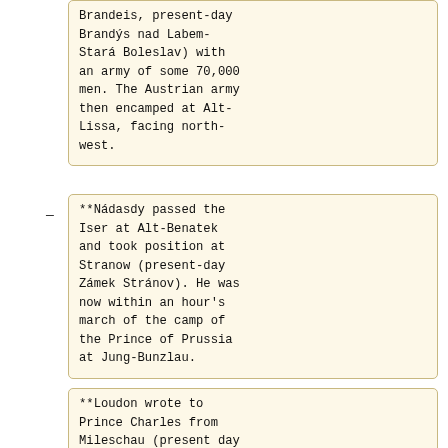Brandeis, present-day Brandýs nad Labem-Stará Boleslav) with an army of some 70,000 men. The Austrian army then encamped at Alt-Lissa, facing north-west.
**Nádasdy passed the Iser at Alt-Benatek and took position at Stranow (present-day Zámek Stránov). He was now within an hour's march of the camp of the Prince of Prussia at Jung-Bunzlau.
**Loudon wrote to Prince Charles from Mileschau (present day Milešov) informing him